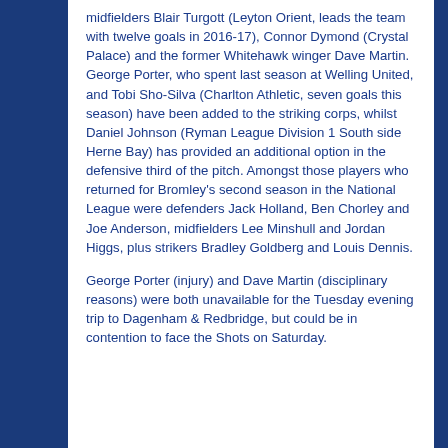midfielders Blair Turgott (Leyton Orient, leads the team with twelve goals in 2016-17), Connor Dymond (Crystal Palace) and the former Whitehawk winger Dave Martin. George Porter, who spent last season at Welling United, and Tobi Sho-Silva (Charlton Athletic, seven goals this season) have been added to the striking corps, whilst Daniel Johnson (Ryman League Division 1 South side Herne Bay) has provided an additional option in the defensive third of the pitch. Amongst those players who returned for Bromley's second season in the National League were defenders Jack Holland, Ben Chorley and Joe Anderson, midfielders Lee Minshull and Jordan Higgs, plus strikers Bradley Goldberg and Louis Dennis.
George Porter (injury) and Dave Martin (disciplinary reasons) were both unavailable for the Tuesday evening trip to Dagenham & Redbridge, but could be in contention to face the Shots on Saturday.